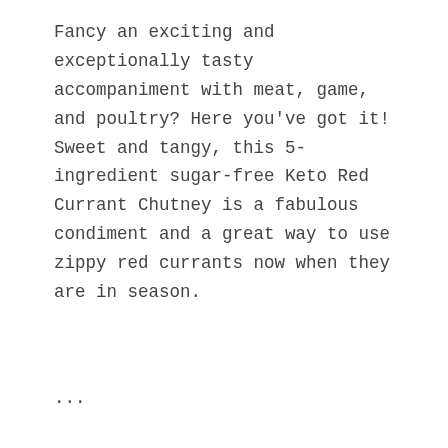Fancy an exciting and exceptionally tasty accompaniment with meat, game, and poultry? Here you've got it! Sweet and tangy, this 5-ingredient sugar-free Keto Red Currant Chutney is a fabulous condiment and a great way to use zippy red currants now when they are in season.
...
READ MORE
Filed Under: Sauces & Condiments
Tagged With: accompaniment, berry, carbs under 5
[Figure (infographic): Advertisement banner with rainbow illustration and #ViralKindness text on dark background]